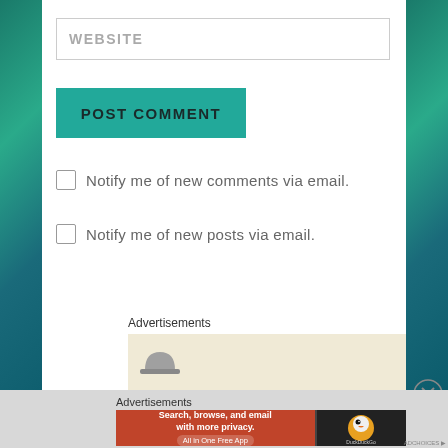WEBSITE
POST COMMENT
Notify me of new comments via email.
Notify me of new posts via email.
Advertisements
[Figure (illustration): DuckDuckGo advertisement banner showing 'Search, browse, and email with more privacy. All in One Free App' on red background with DuckDuckGo duck logo on dark background]
Advertisements
[Figure (illustration): DuckDuckGo ad: Search, browse, and email with more privacy. All in One Free App. DuckDuckGo logo.]